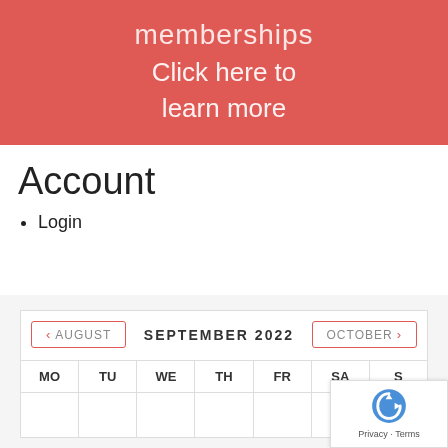[Figure (illustration): Red/coral banner with semi-transparent text: 'memberships' and 'Click here to learn more' on a pinkish-red background with subtle imagery]
Account
Login
[Figure (other): Calendar widget showing September 2022 with navigation buttons for August and October, and day headers MO, TU, WE, TH, FR, SA, S(U partially hidden)]
[Figure (other): reCAPTCHA badge in bottom-right corner with Google reCAPTCHA logo and Privacy/Terms text]